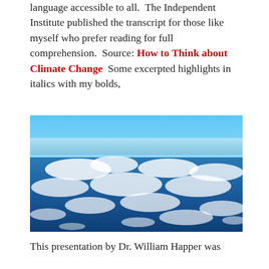language accessible to all.  The Independent Institute published the transcript for those like myself who prefer reading for full comprehension.  Source: How to Think about Climate Change  Some excerpted highlights in italics with my bolds,
[Figure (photo): Aerial photograph taken from high altitude showing the Earth's atmosphere, blue sky at the top, and white clouds scattered over deep blue ocean or land below.]
This presentation by Dr. William Happer was